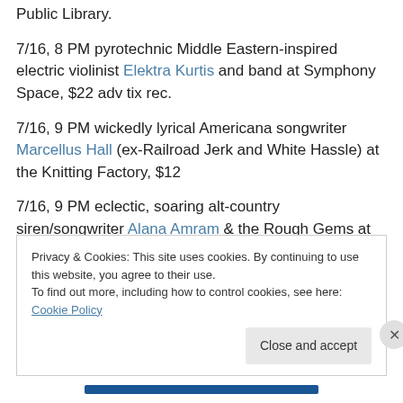Public Library.
7/16, 8 PM pyrotechnic Middle Eastern-inspired electric violinist Elektra Kurtis and band at Symphony Space, $22 adv tix rec.
7/16, 9 PM wickedly lyrical Americana songwriter Marcellus Hall (ex-Railroad Jerk and White Hassle) at the Knitting Factory, $12
7/16, 9 PM eclectic, soaring alt-country siren/songwriter Alana Amram & the Rough Gems at Union Pool, $8
Privacy & Cookies: This site uses cookies. By continuing to use this website, you agree to their use. To find out more, including how to control cookies, see here: Cookie Policy